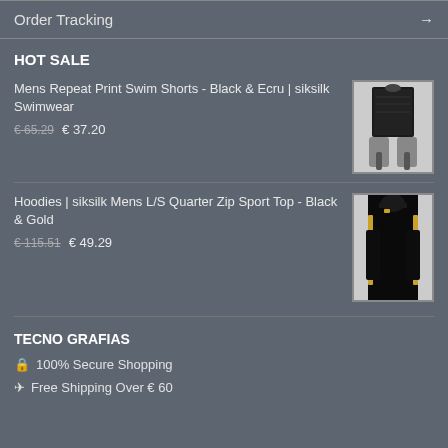Order Tracking
HOT SALE
Mens Repeat Print Swim Shorts - Black & Ecru | siksilk Swimwear
€ 65.29  € 37.20
[Figure (photo): Product photo of black swim shorts with pattern, worn by a model]
Hoodies | siksilk Mens L/S Quarter Zip Sport Top - Black & Gold
€ 115.51  € 49.29
[Figure (photo): Product photo of black long-sleeve quarter zip sport top with gold accents, worn by a male model]
TECNO GRAFIAS
🔒 100% Secure Shopping
✈ Free Shipping Over € 60